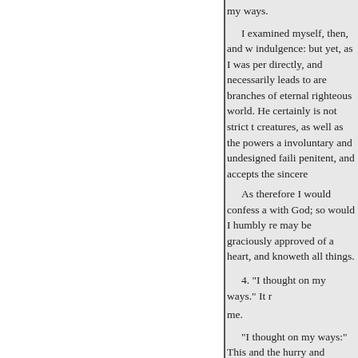my ways.

    I examined myself, then, and w indulgence: but yet, as I was per directly, and necessarily leads to are branches of eternal righteous world. He certainly is not strict t creatures, as well as the powers a involuntary and undesigned faili penitent, and accepts the sincere

    As therefore I would confess a with God; so would I humbly re may be graciously approved of a heart, and knoweth all things.

    4. "I thought on my ways." It  me.

    "I thought on my ways:" This and the hurry and business of lif which throw us off our guard: an

    Various are the temptations o beyond the bounds of reason. In